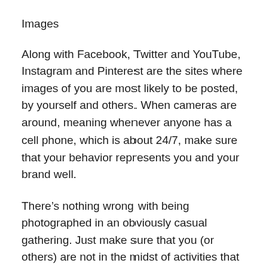Images
Along with Facebook, Twitter and YouTube, Instagram and Pinterest are the sites where images of you are most likely to be posted, by yourself and others. When cameras are around, meaning whenever anyone has a cell phone, which is about 24/7, make sure that your behavior represents you and your brand well.
There’s nothing wrong with being photographed in an obviously casual gathering. Just make sure that you (or others) are not in the midst of activities that could be misconstrued and reflect poorly on you sometime in the future. If you regularly appear in photos that you know or suspect will be posted to social media sites, counteract with a photo of your own that shows you at work, paid or volunteer. Balance your accounts, so to